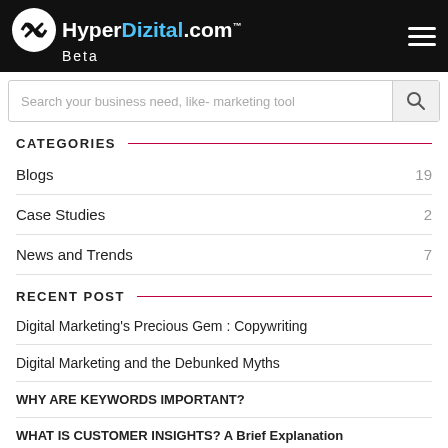HyperDizital.com Beta
Search your business need, like- marketing tool
CATEGORIES
Blogs 19
Case Studies 2
News and Trends 7
RECENT POST
Digital Marketing's Precious Gem : Copywriting
Digital Marketing and the Debunked Myths
WHY ARE KEYWORDS IMPORTANT?
WHAT IS CUSTOMER INSIGHTS? A Brief Explanation